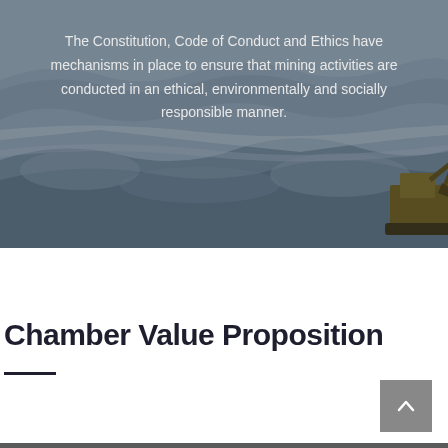[Figure (photo): Aerial/overhead photograph of a mining site showing grey rocky terrain/quarry with layered sediment bands and mining equipment (excavator) visible in the lower right corner.]
The Constitution, Code of Conduct and Ethics have mechanisms in place to ensure that mining activities are conducted in an ethical, environmentally and socially responsible manner.
Chamber Value Proposition